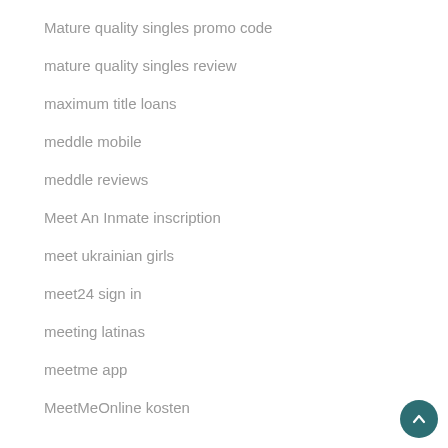Mature quality singles promo code
mature quality singles review
maximum title loans
meddle mobile
meddle reviews
Meet An Inmate inscription
meet ukrainian girls
meet24 sign in
meeting latinas
meetme app
MeetMeOnline kosten